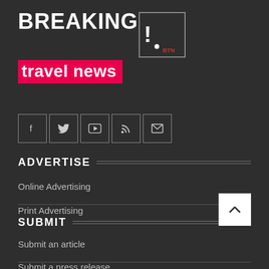[Figure (logo): Breaking Travel News logo with pink background and BTN bracket icon]
[Figure (infographic): Social media icons: Facebook, Twitter, YouTube, RSS, Email in bordered square buttons]
ADVERTISE
Online Advertising
Print Advertising
SUBMIT
Submit an article
Submit a press release